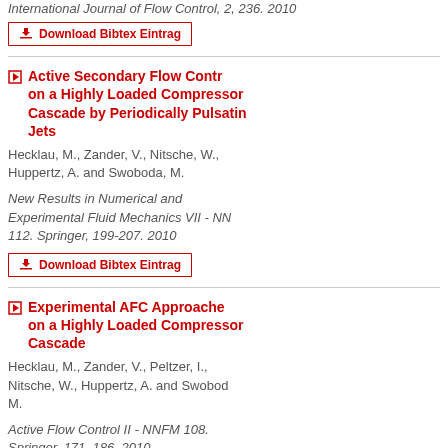International Journal of Flow Control, 2, 236. 2010
Download Bibtex Eintrag
Active Secondary Flow Control on a Highly Loaded Compressor Cascade by Periodically Pulsating Jets
Hecklau, M., Zander, V., Nitsche, W., Huppertz, A. and Swoboda, M.
New Results in Numerical and Experimental Fluid Mechanics VII - NN 112. Springer, 199-207. 2010
Download Bibtex Eintrag
Experimental AFC Approaches on a Highly Loaded Compressor Cascade
Hecklau, M., Zander, V., Peltzer, I., Nitsche, W., Huppertz, A. and Swoboda, M.
Active Flow Control II - NNFM 108. Springer, 171–186. 2010
Download Bibtex Eintrag